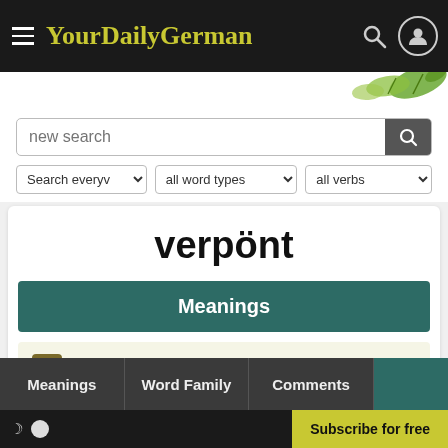YourDailyGerman
[Figure (screenshot): Search bar with placeholder 'new search' and filter dropdowns: 'Search everyv', 'all word types', 'all verbs']
verpönt
Meanings
1. frowned upon, proscribed
Meanings | Word Family | Comments | Subscribe for free